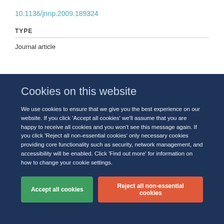10.1136/jnnp.2009.189324
TYPE
Journal article
Cookies on this website
We use cookies to ensure that we give you the best experience on our website. If you click 'Accept all cookies' we'll assume that you are happy to receive all cookies and you won't see this message again. If you click 'Reject all non-essential cookies' only necessary cookies providing core functionality such as security, network management, and accessibility will be enabled. Click 'Find out more' for information on how to change your cookie settings.
Accept all cookies
Reject all non-essential cookies